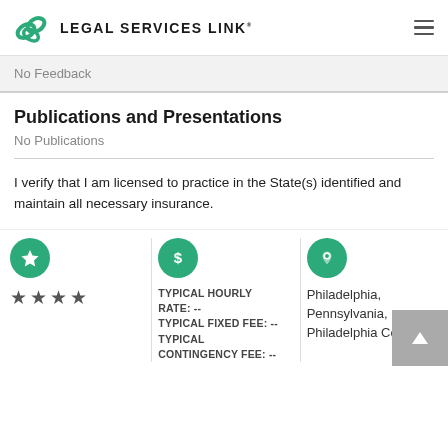LEGAL SERVICES LINK
No Feedback
Publications and Presentations
No Publications
I verify that I am licensed to practice in the State(s) identified and maintain all necessary insurance.
[Figure (infographic): Rating section with green star icon and four gray stars below it]
[Figure (infographic): Green dollar sign circle icon with typical hourly rate, typical fixed fee, and typical contingency fee labels all showing dashes]
[Figure (infographic): Green location pin icon with Philadelphia, Pennsylvania, Philadelphia County text]